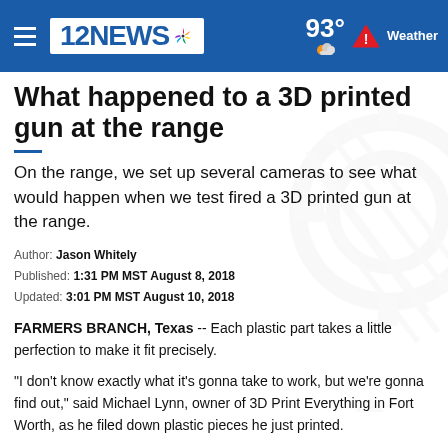12NEWS NBC  |  93° Weather
What happened to a 3D printed gun at the range
On the range, we set up several cameras to see what would happen when we test fired a 3D printed gun at the range.
Author: Jason Whitely
Published: 1:31 PM MST August 8, 2018
Updated: 3:01 PM MST August 10, 2018
FARMERS BRANCH, Texas -- Each plastic part takes a little perfection to make it fit precisely.
“I don’t know exactly what it’s gonna take to work, but we’re gonna find out,” said Michael Lynn, owner of 3D Print Everything in Fort Worth, as he filed down plastic pieces he just printed.